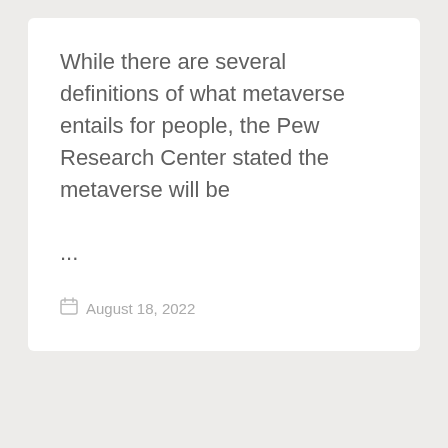While there are several definitions of what metaverse entails for people, the Pew Research Center stated the metaverse will be ...
August 18, 2022